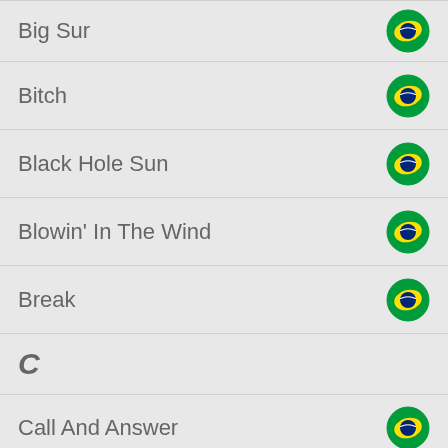Big Sur
Bitch
Black Hole Sun
Blowin' In The Wind
Break
C
Call And Answer
Can't Deny